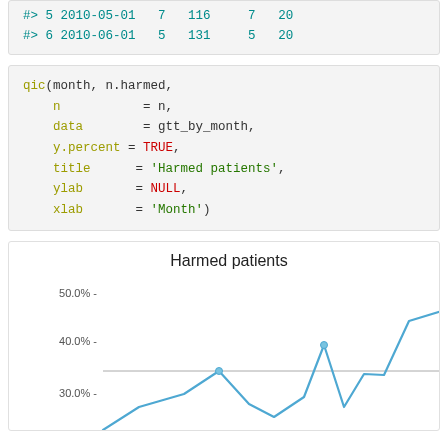#> 5 2010-05-01   7   116   7   20
#> 6 2010-06-01   5   131   5   20
qic(month, n.harmed,
    n           = n,
    data        = gtt_by_month,
    y.percent   = TRUE,
    title       = 'Harmed patients',
    ylab        = NULL,
    xlab        = 'Month')
[Figure (line-chart): Line chart showing harmed patients percentage over months. Y-axis shows 30.0%, 40.0%, 50.0% labels. A horizontal control line near 35%. The data line peaks near 35% mid-chart, then rises to ~40% and ~45%+ at right edge.]